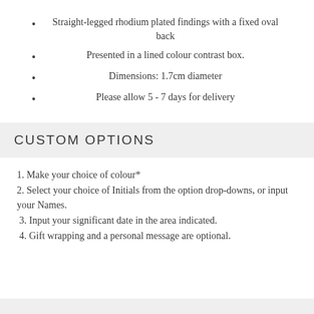Straight-legged rhodium plated findings with a fixed oval back
Presented in a lined colour contrast box.
Dimensions: 1.7cm diameter
Please allow 5 - 7 days for delivery
CUSTOM OPTIONS
1. Make your choice of colour*
2. Select your choice of Initials from the option drop-downs, or input your Names.
3. Input your significant date in the area indicated.
4. Gift wrapping and a personal message are optional.